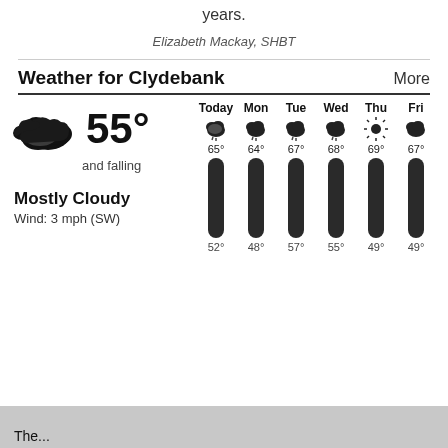years.
Elizabeth Mackay, SHBT
Weather for Clydebank
[Figure (infographic): Weather forecast widget for Clydebank. Current: 55°, Mostly Cloudy, and falling, Wind: 3 mph (SW). Forecast: Today 65°/52°, Mon 64°/48°, Tue 67°/57°, Wed 68°/55°, Thu 69°/49°, Fri 67°/49°.]
The...